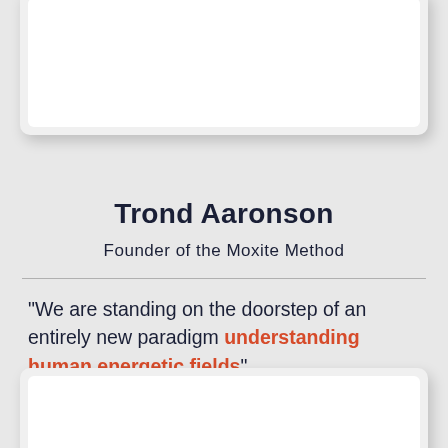[Figure (other): Top white card/panel placeholder area]
Trond Aaronson
Founder of the Moxite Method
"We are standing on the doorstep of an entirely new paradigm understanding human energetic fields"
[Figure (other): Bottom white card/panel placeholder area]